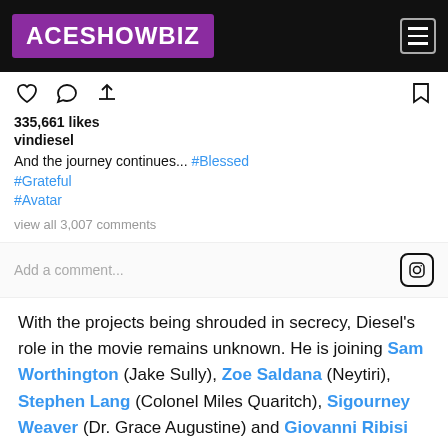ACESHOWBIZ
335,661 likes
vindiesel
And the journey continues... #Blessed #Grateful #Avatar
view all 3,007 comments
Add a comment...
With the projects being shrouded in secrecy, Diesel's role in the movie remains unknown. He is joining Sam Worthington (Jake Sully), Zoe Saldana (Neytiri), Stephen Lang (Colonel Miles Quaritch), Sigourney Weaver (Dr. Grace Augustine) and Giovanni Ribisi (Parker Selfridge) who are reprising their respective